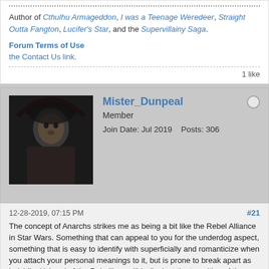Author of Cthulhu Armageddon, I was a Teenage Weredeer, Straight Outta Fangton, Lucifer's Star, and the Supervillainy Saga.
Forum Terms of Use
the Contact Us link.
1 like
Mister_Dunpeal
Member
Join Date: Jul 2019    Posts: 306
12-28-2019, 07:15 PM
#21
The concept of Anarchs strikes me as being a bit like the Rebel Alliance in Star Wars. Something that can appeal to you for the underdog aspect, something that is easy to identify with superficially and romanticize when you attach your personal meanings to it, but is prone to break apart as indvidiual 'views' of the Rebellion collide (look at the transition of the Original Trilogy Rebels to the Expanded Universe New Republic and its iterations, nevermind how it evolved as the Prequels were introduced or we got Disney's spin on matters.) Anarchs have the appeal of being the revolutionaries and counterculture rebels (see Smiling Jack or Damsel) but lacking the hard-edged, terroristic